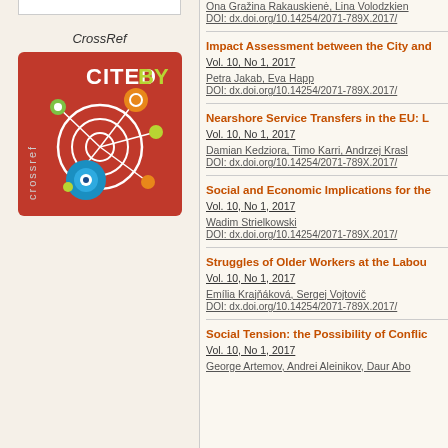[Figure (logo): CrossRef Cited By logo — red square background with circular network nodes in various colors and crossref text]
Vol. 10, No 1, 2017
Ona Gražina Rakauskienė, Lina Volodzkiene
DOI: dx.doi.org/10.14254/2071-789X.2017/
Impact Assessment between the City and
Vol. 10, No 1, 2017
Petra Jakab, Eva Happ
DOI: dx.doi.org/10.14254/2071-789X.2017/
Nearshore Service Transfers in the EU: L
Vol. 10, No 1, 2017
Damian Kedziora, Timo Karri, Andrzej Krasl
DOI: dx.doi.org/10.14254/2071-789X.2017/
Social and Economic Implications for the
Vol. 10, No 1, 2017
Wadim Strielkowski
DOI: dx.doi.org/10.14254/2071-789X.2017/
Struggles of Older Workers at the Labour
Vol. 10, No 1, 2017
Emília Krajňáková, Sergej Vojtovič
DOI: dx.doi.org/10.14254/2071-789X.2017/
Social Tension: the Possibility of Conflic
Vol. 10, No 1, 2017
George Artemov, Andrei Aleinikov, Daur Abo